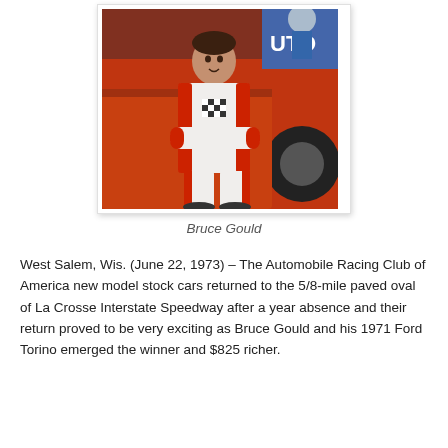[Figure (photo): Bruce Gould in white racing suit with red accents, crouching next to an orange/red race car at a speedway. A blue banner is partially visible in the background.]
Bruce Gould
West Salem, Wis. (June 22, 1973) – The Automobile Racing Club of America new model stock cars returned to the 5/8-mile paved oval of La Crosse Interstate Speedway after a year absence and their return proved to be very exciting as Bruce Gould and his 1971 Ford Torino emerged the winner and $825 richer.